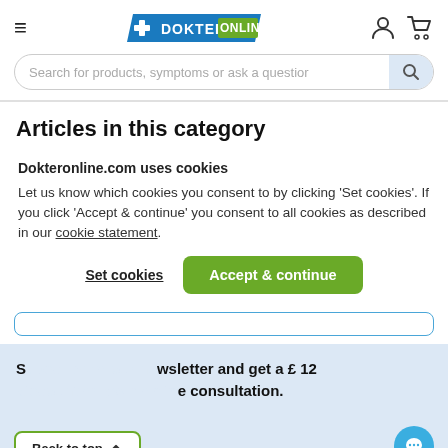[Figure (logo): Dokter Online logo with blue cross and green bar]
Search for products, symptoms or ask a question
Articles in this category
Dokteronline.com uses cookies
Let us know which cookies you consent to by clicking 'Set cookies'. If you click 'Accept & continue' you consent to all cookies as described in our cookie statement.
Set cookies
Accept & continue
Subscribe to our newsletter and get a £ 12 discount on your online consultation.
Back to top
Email address *